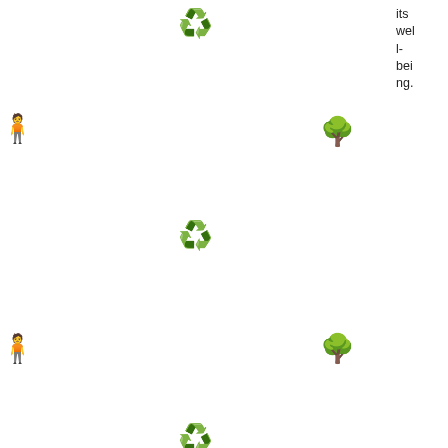its wel l- bei ng.
[Figure (illustration): Scattered environmental emoji icons: recycle symbols, trees, and person silhouettes arranged across the upper portion of the page]
Save the Planet!
[Figure (screenshot): YouTube video thumbnail showing WWF 'How to Save Our Planet' video with sea lions underwater, WWF panda logo, video title, and red YouTube play button]